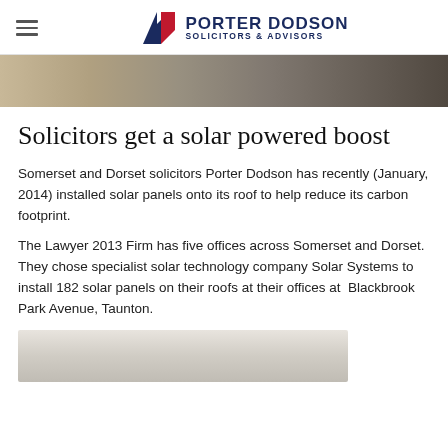Porter Dodson Solicitors & Advisors
[Figure (photo): Partial view of a building rooftop or exterior, likely showing solar panels or building facade]
Solicitors get a solar powered boost
Somerset and Dorset solicitors Porter Dodson has recently (January, 2014) installed solar panels onto its roof to help reduce its carbon footprint.
The Lawyer 2013 Firm has five offices across Somerset and Dorset. They chose specialist solar technology company Solar Systems to install 182 solar panels on their roofs at their offices at  Blackbrook Park Avenue, Taunton.
[Figure (photo): Partial view of a building or solar installation, bottom of page]